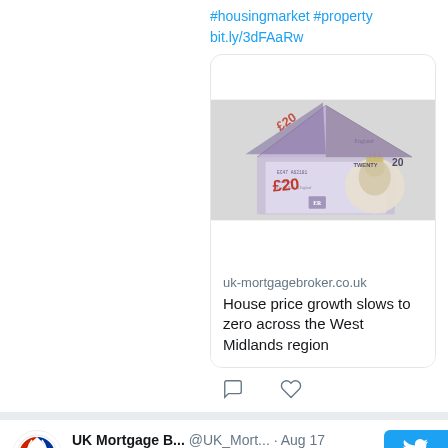#housingmarket #property bit.ly/3dFAaRw
[Figure (photo): A house shape folded from UK £20 banknotes on a white background]
uk-mortgagebroker.co.uk
House price growth slows to zero across the West Midlands region
UK Mortgage B... @UK_Mort... · Aug 17
Prime house price five-year forecast revise #houseprices #UKhousingmarket #property bit.ly/3Pu9JeP